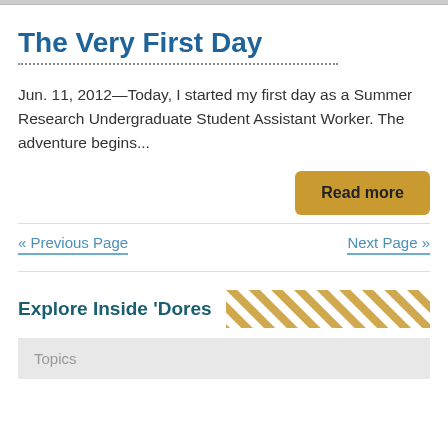The Very First Day
Jun. 11, 2012—Today, I started my first day as a Summer Research Undergraduate Student Assistant Worker. The adventure begins...
Read more
« Previous Page
Next Page »
Explore Inside 'Dores
Topics